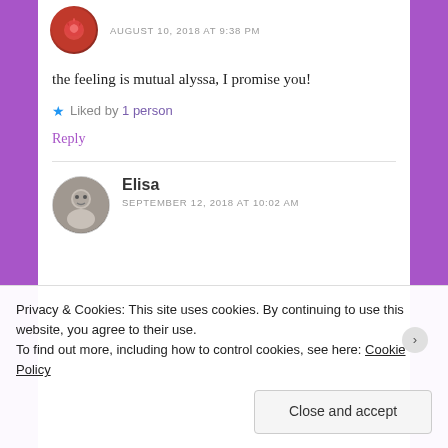AUGUST 10, 2018 AT 9:38 PM
the feeling is mutual alyssa, I promise you!
★ Liked by 1 person
Reply
Elisa
SEPTEMBER 12, 2018 AT 10:02 AM
Privacy & Cookies: This site uses cookies. By continuing to use this website, you agree to their use. To find out more, including how to control cookies, see here: Cookie Policy
Close and accept